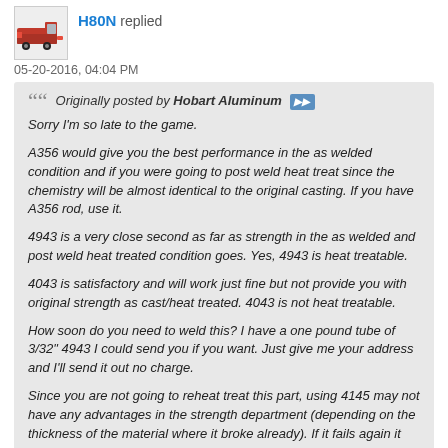H80N replied
05-20-2016, 04:04 PM
Originally posted by Hobart Aluminum
Sorry I'm so late to the game.

A356 would give you the best performance in the as welded condition and if you were going to post weld heat treat since the chemistry will be almost identical to the original casting. If you have A356 rod, use it.

4943 is a very close second as far as strength in the as welded and post weld heat treated condition goes. Yes, 4943 is heat treatable.

4043 is satisfactory and will work just fine but not provide you with original strength as cast/heat treated. 4043 is not heat treatable.

How soon do you need to weld this? I have a one pound tube of 3/32" 4943 I could send you if you want. Just give me your address and I'll send it out no charge.

Since you are not going to reheat treat this part, using 4145 may not have any advantages in the strength department (depending on the thickness of the material where it broke already). If it fails again it will probably fail in the HAZ of the casting.